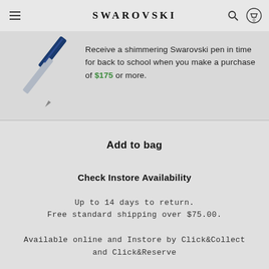SWAROVSKI
[Figure (illustration): Blue and silver Swarovski pen angled diagonally]
Receive a shimmering Swarovski pen in time for back to school when you make a purchase of $175 or more.
Add to bag
Check Instore Availability
Up to 14 days to return.
Free standard shipping over $75.00.
Available online and Instore by Click&Collect and Click&Reserve